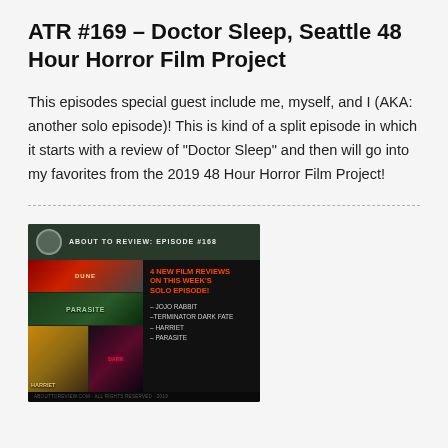ATR #169 – Doctor Sleep, Seattle 48 Hour Horror Film Project
This episodes special guest include me, myself, and I (AKA: another solo episode)! This is kind of a split episode in which it starts with a review of "Doctor Sleep" and then will go into my favorites from the 2019 48 Hour Horror Film Project!
[Figure (illustration): Podcast episode thumbnail for 'About to Review: Episode #168' showing a grid of movie posters including Parasite and other films, with text '4 New Film Reviews on This Week's Solo Episode! - Jojo Rabbit - Terminator Dark Fate - Harriet - Parasite']